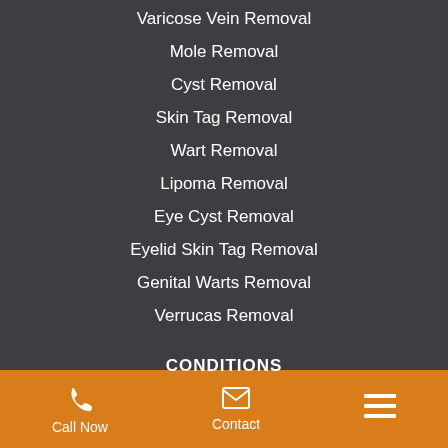Varicose Vein Removal
Mole Removal
Cyst Removal
Skin Tag Removal
Wart Removal
Lipoma Removal
Eye Cyst Removal
Eyelid Skin Tag Removal
Genital Warts Removal
Verrucas Removal
CONDITIONS
Call Now  Contact